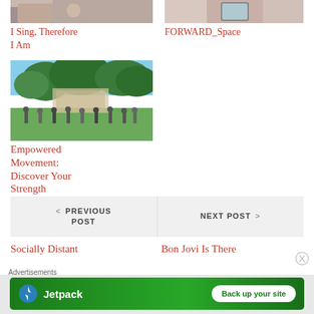[Figure (photo): Partial top image, left column - hands/people]
[Figure (photo): Partial top image, right column - person with phone]
I Sing, Therefore I Am
FORWARD_Space
[Figure (photo): Outdoor gathering under trees, people standing on grass]
Empowered Movement: Discover Your Strength
< PREVIOUS POST
NEXT POST >
Socially Distant
Bon Jovi Is There
Advertisements
[Figure (logo): Jetpack advertisement banner - Back up your site]